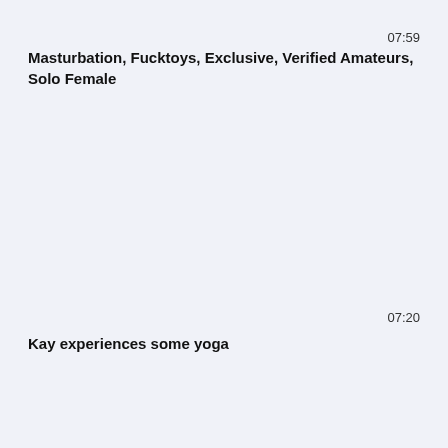07:59
Masturbation, Fucktoys, Exclusive, Verified Amateurs, Solo Female
07:20
Kay experiences some yoga